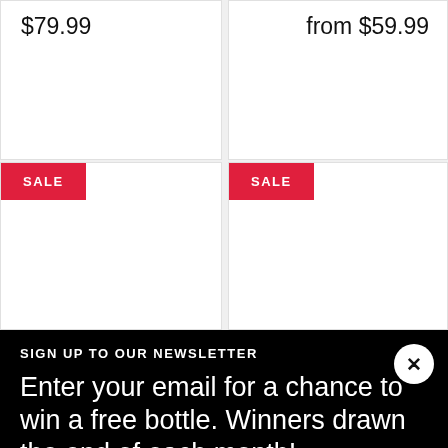$79.99
from $59.99
SALE
SALE
SIGN UP TO OUR NEWSLETTER
Enter your email for a chance to win a free bottle. Winners drawn the end of each month!
Enter email
[Figure (infographic): Social media icons: Facebook, Twitter, YouTube, Instagram]